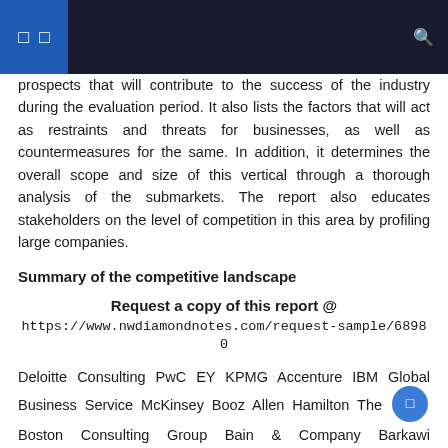prospects that will contribute to the success of the industry during the evaluation period. It also lists the factors that will act as restraints and threats for businesses, as well as countermeasures for the same. In addition, it determines the overall scope and size of this vertical through a thorough analysis of the submarkets. The report also educates stakeholders on the level of competition in this area by profiling large companies.
Summary of the competitive landscape
Request a copy of this report @
https://www.nwdiamondnotes.com/request-sample/68980
Deloitte Consulting PwC EY KPMG Accenture IBM Global Business Service McKinsey Booz Allen Hamilton The Boston Consulting Group Bain & Company Barkawi Management